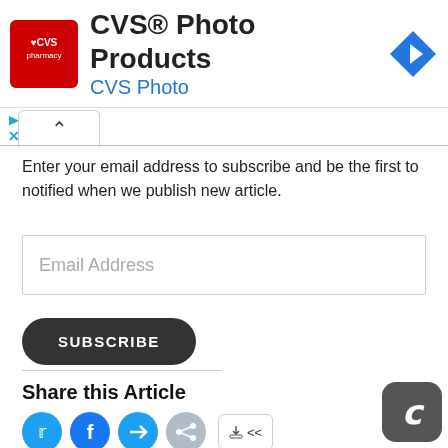[Figure (logo): CVS Photo Products advertisement banner with CVS Pharmacy logo (red square with white heart logo), title 'CVS® Photo Products', subtitle 'CVS Photo' in blue, and a blue diamond navigation arrow icon]
Enter your email address to subscribe and be the first to notified when we publish new article.
Email Address
SUBSCRIBE
Share this Article
[Figure (illustration): Social share icons: Twitter (light blue circle), Facebook (blue circle), link/share (blue circle), generic share (grey circle), and Apple share button]